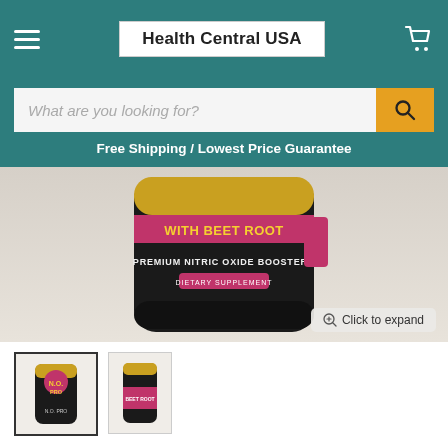Health Central USA
What are you looking for?
Free Shipping / Lowest Price Guarantee
[Figure (photo): Close-up of a dark cylindrical supplement bottle with gold lid showing 'WITH BEET ROOT - PREMIUM NITRIC OXIDE BOOSTER - DIETARY SUPPLEMENT' label with pink and gold branding. A 'Click to expand' magnifier badge appears at the bottom right.]
[Figure (photo): Small thumbnail of supplement bottle (selected, with black border)]
[Figure (photo): Small thumbnail of supplement bottle showing full bottle with pink label]
Zhou Nutrition, N.O. Pro with Beet Root, 120 Veggie Capsules